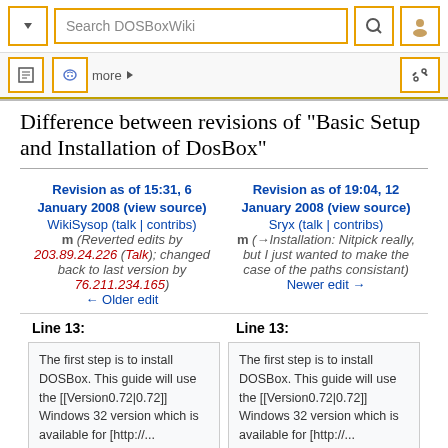Search DOSBoxWiki
Difference between revisions of "Basic Setup and Installation of DosBox"
Revision as of 15:31, 6 January 2008 (view source)
WikiSysop (talk | contribs)
m (Reverted edits by 203.89.24.226 (Talk); changed back to last version by 76.211.234.165)
← Older edit
Revision as of 19:04, 12 January 2008 (view source)
Sryx (talk | contribs)
m (→Installation: Nitpick really, but I just wanted to make the case of the paths consistant)
Newer edit →
Line 13:
Line 13:
The first step is to install DOSBox. This guide will use the [[Version0.72|0.72]] Windows 32 version which is available for [http://...
The first step is to install DOSBox. This guide will use the [[Version0.72|0.72]] Windows 32 version which is available for [http://...